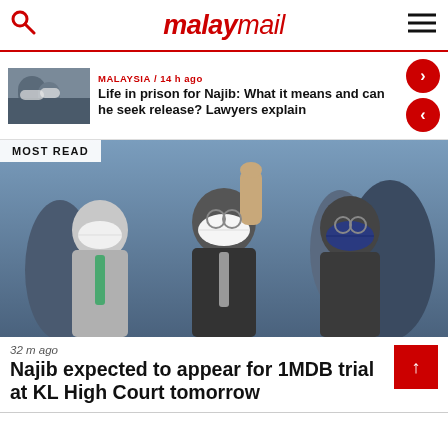malaymail
MALAYSIA / 14 h ago
Life in prison for Najib: What it means and can he seek release? Lawyers explain
MOST READ
[Figure (photo): Najib Razak wearing a white face mask, raising hand, flanked by two other men in masks]
32 m ago
Najib expected to appear for 1MDB trial at KL High Court tomorrow